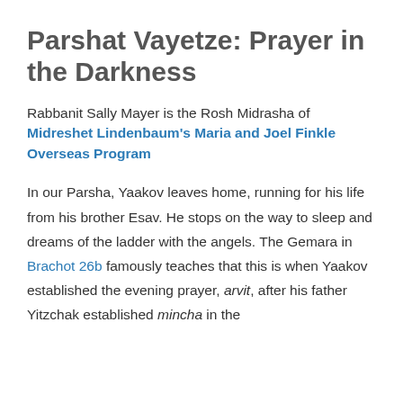Parshat Vayetze: Prayer in the Darkness
Rabbanit Sally Mayer is the Rosh Midrasha of Midreshet Lindenbaum’s Maria and Joel Finkle Overseas Program
In our Parsha, Yaakov leaves home, running for his life from his brother Esav. He stops on the way to sleep and dreams of the ladder with the angels. The Gemara in Brachot 26b famously teaches that this is when Yaakov established the evening prayer, arvit, after his father Yitzchak established mincha in the